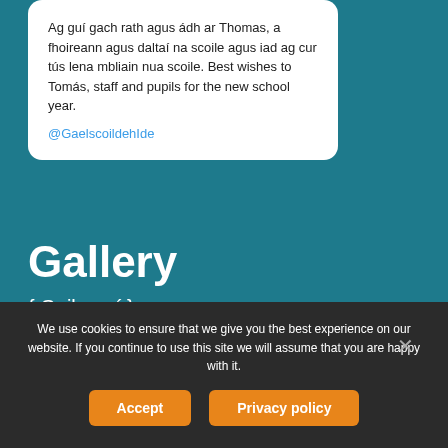Ag guí gach rath agus ádh ar Thomas, a fhoireann agus daltaí na scoile agus iad ag cur tús lena mbliain nua scoile. Best wishes to Tomás, staff and pupils for the new school year. @GaelscoildehIde
Gallery
{ Gailearaí }
[Figure (photo): Group photo outside a building with signage]
[Figure (photo): People holding a blue flag with a star outdoors]
[Figure (photo): Group of people in yellow vests outdoors]
We use cookies to ensure that we give you the best experience on our website. If you continue to use this site we will assume that you are happy with it.
Accept
Privacy policy